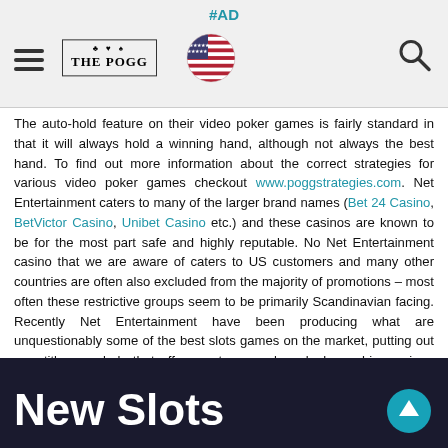#AD | THE POGG | [US flag] | [search icon]
The auto-hold feature on their video poker games is fairly standard in that it will always hold a winning hand, although not always the best hand. To find out more information about the correct strategies for various video poker games checkout www.poggstrategies.com. Net Entertainment caters to many of the larger brand names (Bet 24 Casino, BetVictor Casino, Unibet Casino etc.) and these casinos are known to be for the most part safe and highly reputable. No Net Entertainment casino that we are aware of caters to US customers and many other countries are often also excluded from the majority of promotions – most often these restrictive groups seem to be primarily Scandinavian facing. Recently Net Entertainment have been producing what are unquestionably some of the best slots games on the market, putting out new titles regularly that offer great game play, sleek graphics, unique features and highly competitive house edges. Net Entertainment are one of the casino brands of the future and players should expect this group to take the forefront of online casino technology in the next decade.
New Slots